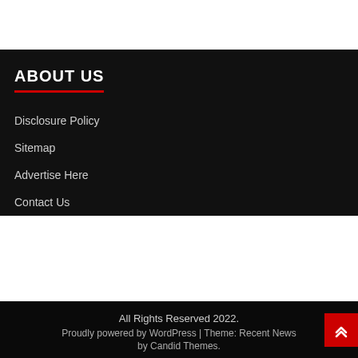ABOUT US
Disclosure Policy
Sitemap
Advertise Here
Contact Us
All Rights Reserved 2022. Proudly powered by WordPress | Theme: Recent News by Candid Themes.